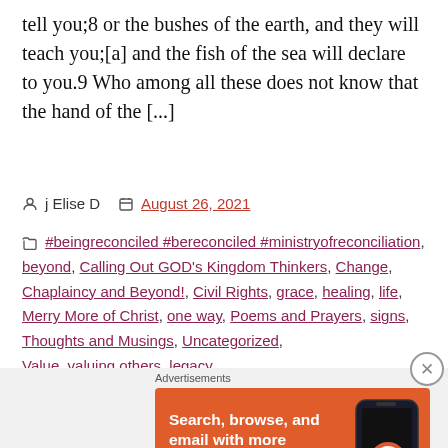tell you;8 or the bushes of the earth, and they will teach you;[a] and the fish of the sea will declare to you.9 Who among all these does not know that the hand of the [...]
j Elise D   August 26, 2021
#beingreconciled #bereconciled #ministryofreconciliation, beyond, Calling Out GOD's Kingdom Thinkers, Change, Chaplaincy and Beyond!, Civil Rights, grace, healing, life, Merry More of Christ, one way, Poems and Prayers, signs, Thoughts and Musings, Uncategorized, Value, valuing others, legacy
[Figure (screenshot): DuckDuckGo advertisement banner: orange background with white bold text 'Search, browse, and email with more privacy.' and a white 'All in One Free App' button, alongside a dark smartphone graphic with DuckDuckGo logo]